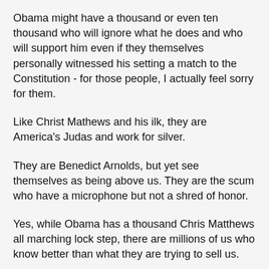Obama might have a thousand or even ten thousand who will ignore what he does and who will support him even if they themselves personally witnessed his setting a match to the Constitution - for those people, I actually feel sorry for them.
Like Christ Mathews and his ilk, they are America's Judas and work for silver.
They are Benedict Arnolds, but yet see themselves as being above us. They are the scum who have a microphone but not a shred of honor.
Yes, while Obama has a thousand Chris Matthews all marching lock step, there are millions of us who know better than what they are trying to sell us.
We will always remember the barricades and the police that were brought in to keep 80 and 90 year old veterans from visiting their memorials - maybe for the last time.
Come election day, though Obama and his stooges might